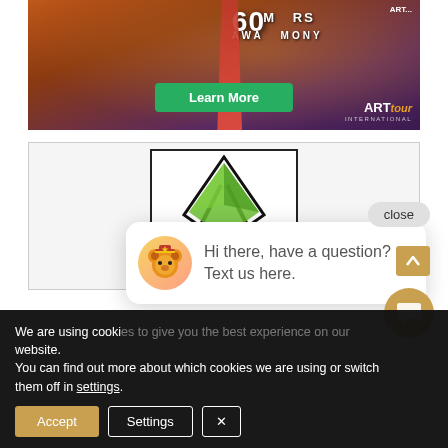[Figure (photo): Event banner showing award ceremony stage with a person in red dress, screen showing '60 MAKERS AWARD CEREMONY', Learn More green button, and ART tour International logo in bottom right.]
[Figure (logo): Logo section with a geometric triangular green gem / diamond shape logo inside a bordered rectangle, above a chat bubble popup.]
close
Hi there, have a question? Text us here.
We are using cookies to give you the best experience on our website.
You can find out more about which cookies we are using or switch them off in settings.
Accept
Settings
×